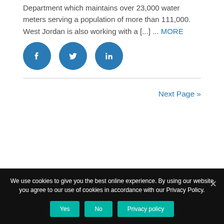Department which maintains over 23,000 water meters serving a population of more than 111,000. West Jordan is also working with a [...] ... MORE
[Figure (infographic): Three social media icon buttons: Facebook (f), Twitter (bird), LinkedIn (in), each in a blue circle]
Next Page »
We use cookies to give you the best online experience. By using our website you agree to our use of cookies in accordance with our Privacy Policy. [Yes] [No] [Privacy policy]